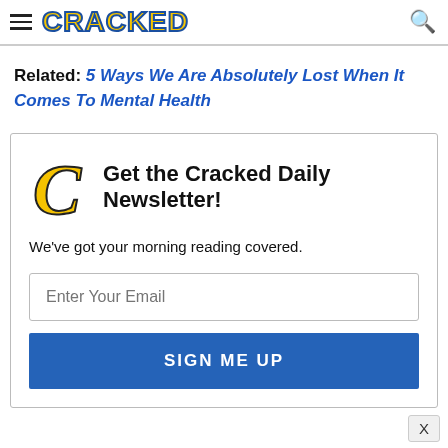CRACKED
Related: 5 Ways We Are Absolutely Lost When It Comes To Mental Health
Get the Cracked Daily Newsletter!
We've got your morning reading covered.
Enter Your Email
SIGN ME UP